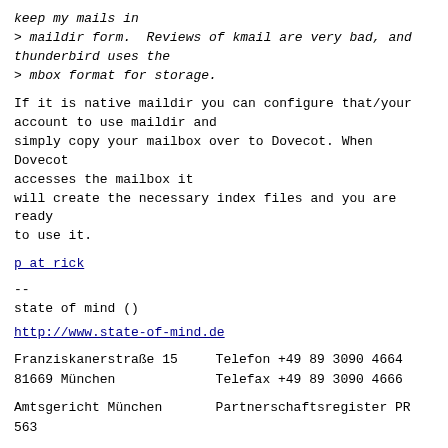keep my mails in
> maildir form.  Reviews of kmail are very bad, and thunderbird uses the
> mbox format for storage.

If it is native maildir you can configure that/your account to use maildir and
simply copy your mailbox over to Dovecot. When Dovecot accesses the mailbox it
will create the necessary index files and you are ready to use it.
p at rick
--
state of mind ()
http://www.state-of-mind.de
Franziskanerstraße 15      Telefon +49 89 3090 4664
81669 München              Telefax +49 89 3090 4666

Amtsgericht München        Partnerschaftsregister PR 563
Previous message: [Dovecot] Import from Evolution
Next message: [Dovecot] Import from Evolution